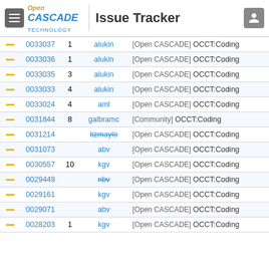Open CASCADE Technology | Issue Tracker
|  | ID | # | User | Tags |
| --- | --- | --- | --- | --- |
| — | 0033037 | 1 | alukin | [Open CASCADE] OCCT:Coding |
| — | 0033036 | 1 | alukin | [Open CASCADE] OCCT:Coding |
| — | 0033035 | 3 | alukin | [Open CASCADE] OCCT:Coding |
| — | 0033033 | 4 | alukin | [Open CASCADE] OCCT:Coding |
| — | 0033024 | 4 | aml | [Open CASCADE] OCCT:Coding |
| — | 0031844 | 8 | galbramc | [Community] OCCT:Coding |
| — | 0031214 |  | tizmaylo | [Open CASCADE] OCCT:Coding |
| — | 0031073 |  | abv | [Open CASCADE] OCCT:Coding |
| — | 0030557 | 10 | kgv | [Open CASCADE] OCCT:Coding |
| — | 0029449 |  | nbv | [Open CASCADE] OCCT:Coding |
| — | 0029161 |  | kgv | [Open CASCADE] OCCT:Coding |
| — | 0029071 |  | abv | [Open CASCADE] OCCT:Coding |
| — | 0028203 | 1 | kgv | [Open CASCADE] OCCT:Coding |